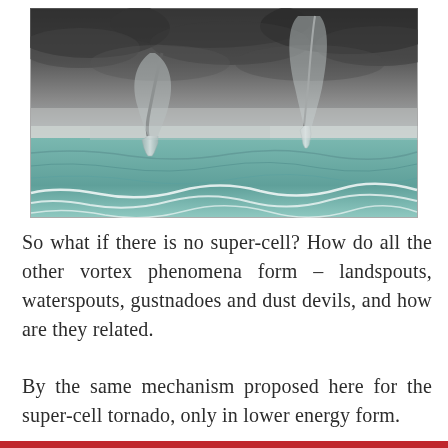[Figure (photo): Photograph of two waterspouts over the ocean, with dark storm clouds above and greenish-blue choppy water below with white foam waves in the foreground.]
So what if there is no super-cell? How do all the other vortex phenomena form – landspouts, waterspouts, gustnadoes and dust devils, and how are they related.
By the same mechanism proposed here for the super-cell tornado, only in lower energy form.